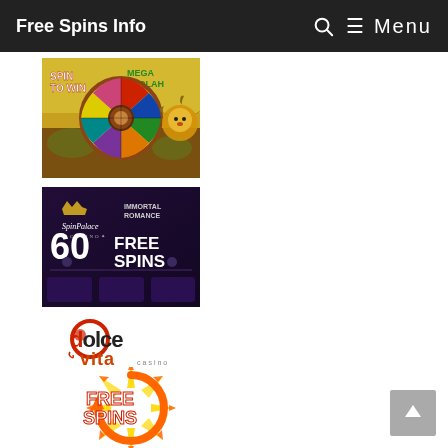Free Spins Info
[Figure (illustration): Spin to Win wheel promotion banner with Mega Moolah lion and colorful prize wheel]
[Figure (illustration): Spin Palace Casino banner showing 60 Free Spins offer with Immortal Romance branding]
[Figure (logo): Dolce Vita casino logo in stylized text]
[Figure (logo): Free Spins logo with orange circular arrow and burst design]